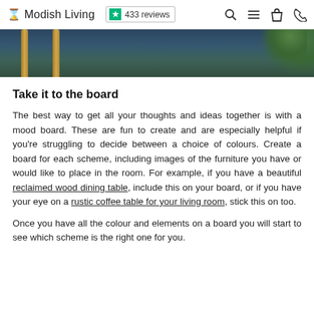Modish Living | ★ 433 reviews
[Figure (photo): Partial view of a room interior with golden/wooden vertical rods and blue-green background with foliage]
Take it to the board
The best way to get all your thoughts and ideas together is with a mood board. These are fun to create and are especially helpful if you're struggling to decide between a choice of colours. Create a board for each scheme, including images of the furniture you have or would like to place in the room. For example, if you have a beautiful reclaimed wood dining table, include this on your board, or if you have your eye on a rustic coffee table for your living room, stick this on too.
Once you have all the colour and elements on a board you will start to see which scheme is the right one for you.